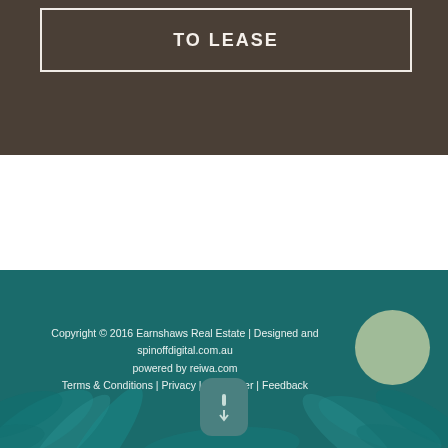TO LEASE
[Figure (illustration): Decorative leaf/plant illustration in teal footer background with muted green circle decoration]
Copyright © 2016 Earnshaws Real Estate | Designed and powered by spinoffdigital.com.au powered by reiwa.com Terms & Conditions | Privacy | Disclaimer | Feedback